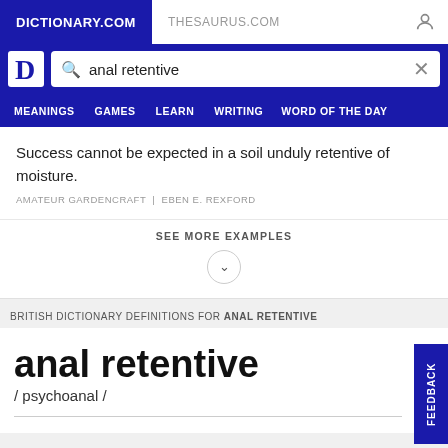DICTIONARY.COM | THESAURUS.COM
anal retentive
Success cannot be expected in a soil unduly retentive of moisture.
AMATEUR GARDENCRAFT | EBEN E. REXFORD
SEE MORE EXAMPLES
BRITISH DICTIONARY DEFINITIONS FOR ANAL RETENTIVE
anal retentive
/ psychoanal /